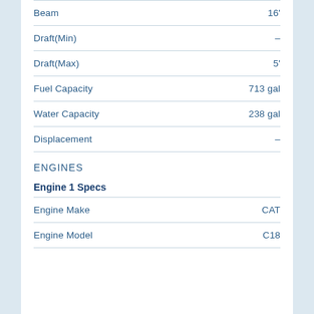| Specification | Value |
| --- | --- |
| Beam | 16' |
| Draft(Min) | – |
| Draft(Max) | 5' |
| Fuel Capacity | 713 gal |
| Water Capacity | 238 gal |
| Displacement | – |
ENGINES
Engine 1 Specs
| Specification | Value |
| --- | --- |
| Engine Make | CAT |
| Engine Model | C18 |